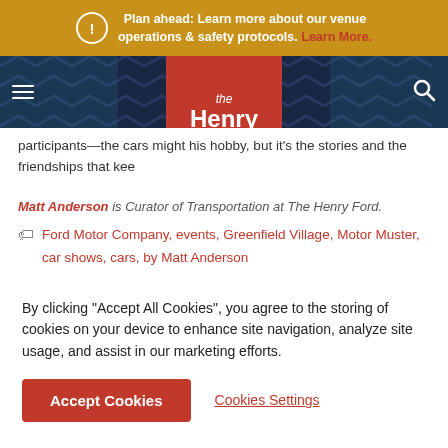Plan ahead: Learn more about our venue operations & safety protocols. Learn More.
[Figure (logo): The Henry Ford museum logo — orange/red square with white text reading 'the Henry Ford']
participants—the cars might [be] his hobby, but it's the stories and the friendships that kee[p him coming back].
Matt Anderson is Curator of Transportation at The Henry Ford.
Ford Motor Company, events, Greenfield Village, Motor Muster, car shows, cars, by Matt Anderson
By clicking "Accept All Cookies", you agree to the storing of cookies on your device to enhance site navigation, analyze site usage, and assist in our marketing efforts.
Accept Cookies  Cookies Settings